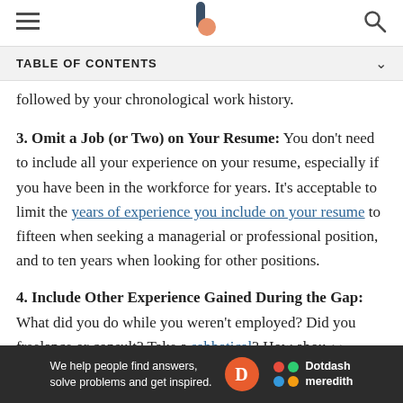[hamburger menu] [balance logo] [search icon]
TABLE OF CONTENTS
followed by your chronological work history.
3. Omit a Job (or Two) on Your Resume: You don't need to include all your experience on your resume, especially if you have been in the workforce for years. It's acceptable to limit the years of experience you include on your resume to fifteen when seeking a managerial or professional position, and to ten years when looking for other positions.
4. Include Other Experience Gained During the Gap: What did you do while you weren't employed? Did you freelance or consult? Take a sabbatical? How abou
[Figure (other): Dotdash Meredith advertisement banner: dark background with text 'We help people find answers, solve problems and get inspired.' with Dotdash 'D' logo in orange circle and Dotdash meredith colorful dots logo]